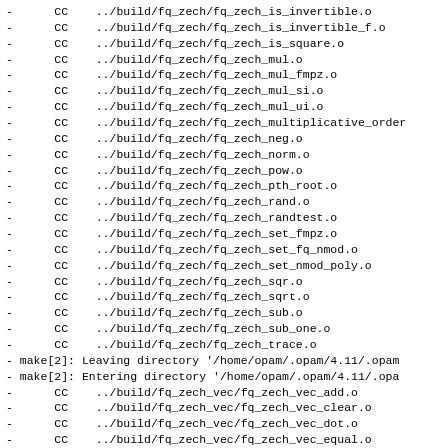-      CC    ../build/fq_zech/fq_zech_is_invertible.o
-      CC    ../build/fq_zech/fq_zech_is_invertible_f.o
-      CC    ../build/fq_zech/fq_zech_is_square.o
-      CC    ../build/fq_zech/fq_zech_mul.o
-      CC    ../build/fq_zech/fq_zech_mul_fmpz.o
-      CC    ../build/fq_zech/fq_zech_mul_si.o
-      CC    ../build/fq_zech/fq_zech_mul_ui.o
-      CC    ../build/fq_zech/fq_zech_multiplicative_order
-      CC    ../build/fq_zech/fq_zech_neg.o
-      CC    ../build/fq_zech/fq_zech_norm.o
-      CC    ../build/fq_zech/fq_zech_pow.o
-      CC    ../build/fq_zech/fq_zech_pth_root.o
-      CC    ../build/fq_zech/fq_zech_rand.o
-      CC    ../build/fq_zech/fq_zech_randtest.o
-      CC    ../build/fq_zech/fq_zech_set_fmpz.o
-      CC    ../build/fq_zech/fq_zech_set_fq_nmod.o
-      CC    ../build/fq_zech/fq_zech_set_nmod_poly.o
-      CC    ../build/fq_zech/fq_zech_sqr.o
-      CC    ../build/fq_zech/fq_zech_sqrt.o
-      CC    ../build/fq_zech/fq_zech_sub.o
-      CC    ../build/fq_zech/fq_zech_sub_one.o
-      CC    ../build/fq_zech/fq_zech_trace.o
- make[2]: Leaving directory '/home/opam/.opam/4.11/.opam
- make[2]: Entering directory '/home/opam/.opam/4.11/.opa
-      CC    ../build/fq_zech_vec/fq_zech_vec_add.o
-      CC    ../build/fq_zech_vec/fq_zech_vec_clear.o
-      CC    ../build/fq_zech_vec/fq_zech_vec_dot.o
-      CC    ../build/fq_zech_vec/fq_zech_vec_equal.o
-      CC    ../build/fq_zech_vec/fq_zech_vec_fprint.o
-      CC    ../build/fq_zech_vec/fq_zech_vec_init.o